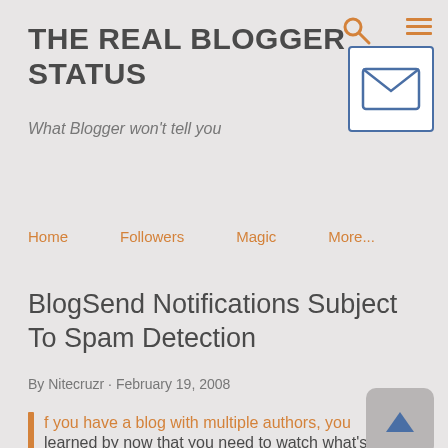THE REAL BLOGGER STATUS
What Blogger won't tell you
[Figure (illustration): Email envelope icon in a white rounded rectangle box with blue border]
[Figure (illustration): Orange magnifying glass search icon]
[Figure (illustration): Orange hamburger menu icon (three horizontal lines)]
Home    Followers    Magic    More...
BlogSend Notifications Subject To Spam Detection
By Nitecruzr · February 19, 2008
f you have a blog with multiple authors, you
learned by now that you need to watch what's being
[Figure (illustration): Grey rounded square button with a blue upward-pointing triangle (scroll to top button)]